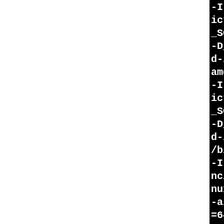[Figure (screenshot): Terminal/console output showing compiler command lines on a black background, partially visible, cropped on the right side. Text is white monospace on black.]